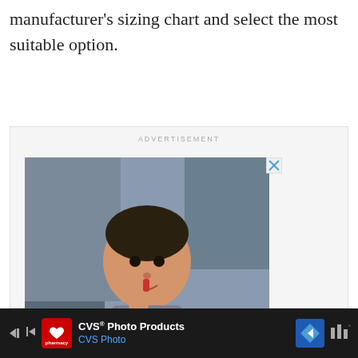manufacturer's sizing chart and select the most suitable option.
[Figure (photo): Advertisement block with 'ADVERTISEMENT' label, showing a No Kid Hungry ad with a child eating, text 'You can help hungry kids.', 'LEARN HOW' button, and No Kid Hungry logo on orange background.]
[Figure (screenshot): Bottom navigation bar with CVS pharmacy logo, 'CVS® Photo Products' and 'CVS Photo' text in blue, a blue diamond navigation arrow icon, and a weather/music icon.]